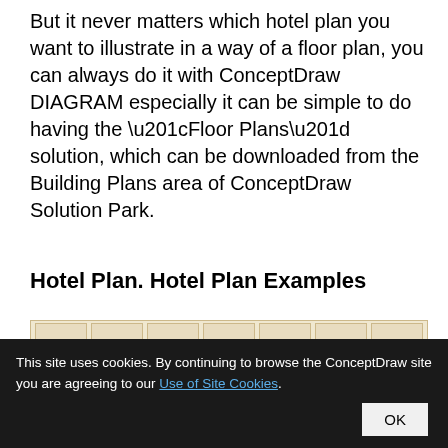But it never matters which hotel plan you want to illustrate in a way of a floor plan, you can always do it with ConceptDraw DIAGRAM especially it can be simple to do having the “Floor Plans” solution, which can be downloaded from the Building Plans area of ConceptDraw Solution Park.
Hotel Plan. Hotel Plan Examples
[Figure (screenshot): Partial view of a hotel plan image strip showing multiple floor plan thumbnails]
This site uses cookies. By continuing to browse the ConceptDraw site you are agreeing to our Use of Site Cookies.